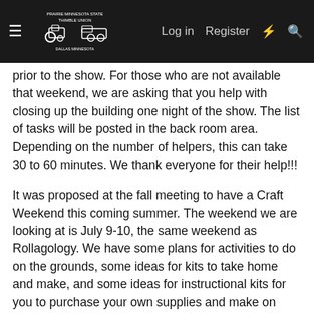Log in  Register  [icons]
prior to the show. For those who are not available that weekend, we are asking that you help with closing up the building one night of the show. The list of tasks will be posted in the back room area. Depending on the number of helpers, this can take 30 to 60 minutes. We thank everyone for their help!!!
It was proposed at the fall meeting to have a Craft Weekend this coming summer. The weekend we are looking at is July 9-10, the same weekend as Rollagology. We have some plans for activities to do on the grounds, some ideas for kits to take home and make, and some ideas for instructional kits for you to purchase your own supplies and make on your own. We’re excited for this fun-filled weekend! To make this weekend a success at limited cost, we are asking for donations of the following supplies – buttons, old thread spools, jar rings, and jar canning lids, used preferred, we like to recycle!. These items can be dropped off at the